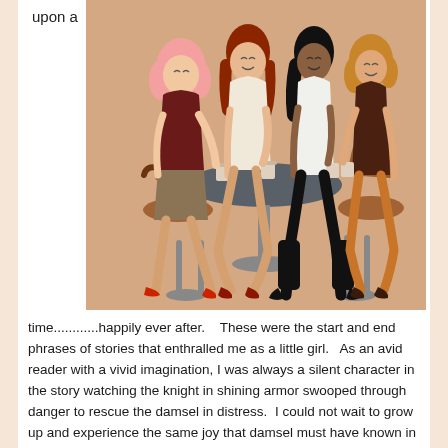upon a
[Figure (illustration): Stylized illustration of four women with different hair colors (pink, red, black, blonde) sitting around a round café table, holding cups, in warm beige tones.]
time............happily ever after.   These were the start and end phrases of stories that enthralled me as a little girl.  As an avid reader with a vivid imagination, I was always a silent character in the story watching the knight in shining armor swooped through danger to rescue the damsel in distress.  I could not wait to grow up and experience the same joy that damsel must have known in the strong arms of her knight.